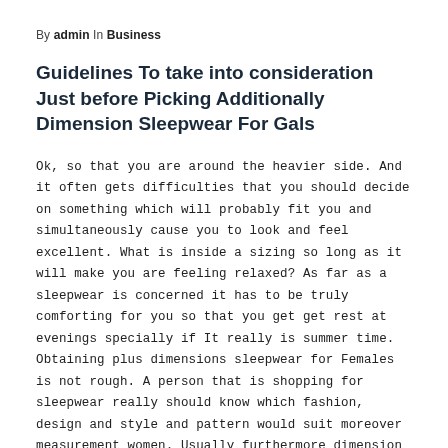By admin In Business
Guidelines To take into consideration Just before Picking Additionally Dimension Sleepwear For Gals
Ok, so that you are around the heavier side. And it often gets difficulties that you should decide on something which will probably fit you and simultaneously cause you to look and feel excellent. What is inside a sizing so long as it will make you are feeling relaxed? As far as a sleepwear is concerned it has to be truly comforting for you so that you get get rest at evenings specially if It really is summer time. Obtaining plus dimensions sleepwear for Females is not rough. A person that is shopping for sleepwear really should know which fashion, design and style and pattern would suit moreover measurement women. Usually furthermore dimension women tend to really feel not comfortable with no matter what they have on. Sleepwear is not merely for a great night time's slumber. You may normally wear them at any time while you are at home. Your best option for in addition dimensions women for making in sleepwear are pajamas. Considering that they come in two items, it turns into less difficult for Ladies who are not really skinny, to pick